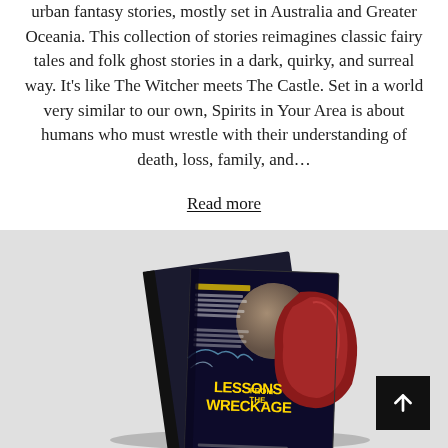urban fantasy stories, mostly set in Australia and Greater Oceania. This collection of stories reimagines classic fairy tales and folk ghost stories in a dark, quirky, and surreal way. It’s like The Witcher meets The Castle. Set in a world very similar to our own, Spirits in Your Area is about humans who must wrestle with their understanding of death, loss, family, and…
Read more
[Figure (photo): Book cover of 'Lessons from the Wreckage' displayed as a 3D book mockup on a grey background. The cover features dark fantasy/sci-fi artwork with a red armored figure and planet in space. Yellow bold text reads 'Lessons from the Wreckage'. A black scroll-to-top button with an upward arrow is in the bottom right corner.]